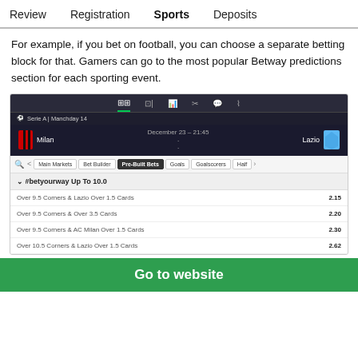Review  Registration  Sports  Deposits
For example, if you bet on football, you can choose a separate betting block for that. Gamers can go to the most popular Betway predictions section for each sporting event.
[Figure (screenshot): Betway sports betting interface showing Milan vs Lazio (Serie A Matchday 14, December 23 21:45) with Pre-Built Bets tab selected, listing: Over 9.5 Corners & Lazio Over 1.5 Cards (2.15), Over 9.5 Corners & Over 3.5 Cards (2.20), Over 9.5 Corners & AC Milan Over 1.5 Cards (2.30), Over 10.5 Corners & Lazio Over 1.5 Cards (2.62)]
Go to website